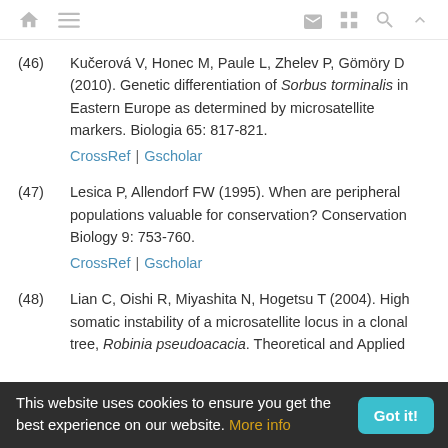Navigation bar with home, menu, mail, grid, search, up icons
(46) Kučerová V, Honec M, Paule L, Zhelev P, Gömöry D (2010). Genetic differentiation of Sorbus torminalis in Eastern Europe as determined by microsatellite markers. Biologia 65: 817-821. CrossRef | Gscholar
(47) Lesica P, Allendorf FW (1995). When are peripheral populations valuable for conservation? Conservation Biology 9: 753-760. CrossRef | Gscholar
(48) Lian C, Oishi R, Miyashita N, Hogetsu T (2004). High somatic instability of a microsatellite locus in a clonal tree, Robinia pseudoacacia. Theoretical and Applied
This website uses cookies to ensure you get the best experience on our website. More info  Got it!